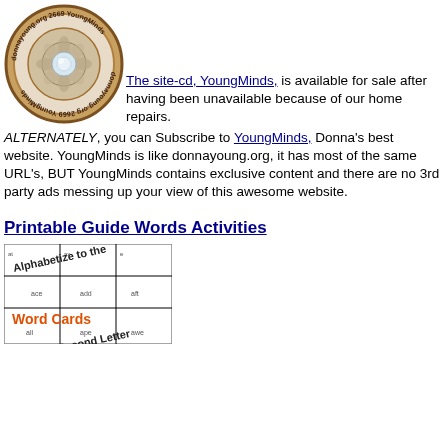[Figure (logo): Circular logo with text 'donnayoung.org 2669 YoungMinds' around a decorative mandala pattern]
The site-cd, YoungMinds, is available for sale after having been unavailable because of our home repairs. ALTERNATELY, you can Subscribe to YoungMinds, Donna's best website. YoungMinds is like donnayoung.org, it has most of the same URL's, BUT YoungMinds contains exclusive content and there are no 3rd party ads messing up your view of this awesome website.
Printable Guide Words Activities
[Figure (illustration): Word cards activity sheet showing alphabetize to the second letter worksheet with words ace, add, aft, all, ape, awe]